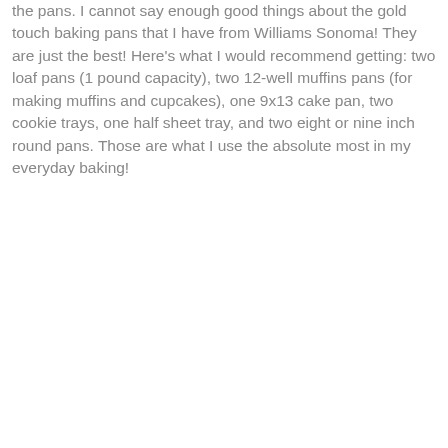the pans.  I cannot say enough good things about the gold touch baking pans that I have from Williams Sonoma!  They are just the best!  Here's what I would recommend getting: two loaf pans (1 pound capacity), two 12-well muffins pans (for making muffins and cupcakes), one 9x13 cake pan, two cookie trays, one half sheet tray, and two eight or nine inch round pans.  Those are what I use the absolute most in my everyday baking!